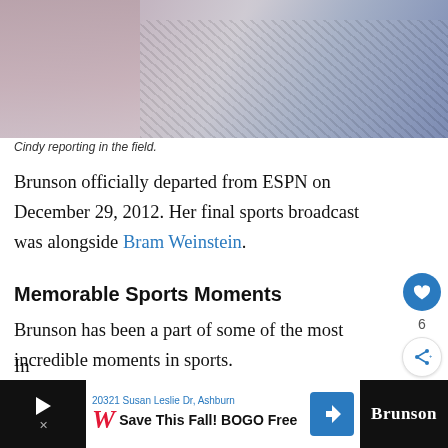[Figure (photo): Blurred close-up photo of Cindy reporting in the field, showing textured clothing in foreground with blurred background]
Cindy reporting in the field.
Brunson officially departed from ESPN on December 29, 2012. Her final sports broadcast was alongside Bram Weinstein.
Memorable Sports Moments
Brunson has been a part of some of the most incredible moments in sports.
[Figure (screenshot): Advertisement banner at bottom: Walgreens Save This Fall! BOGO Free ad with navigation arrow icon and Brunson text on dark background]